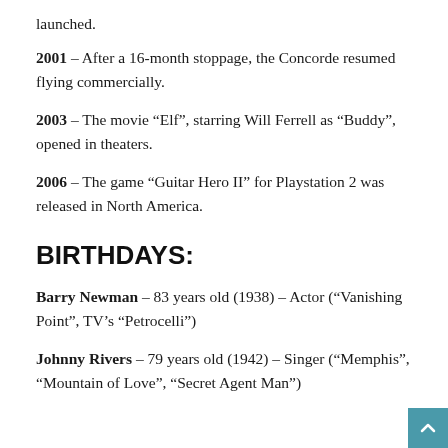launched.
2001 – After a 16-month stoppage, the Concorde resumed flying commercially.
2003 – The movie “Elf”, starring Will Ferrell as “Buddy”, opened in theaters.
2006 – The game “Guitar Hero II” for Playstation 2 was released in North America.
BIRTHDAYS:
Barry Newman – 83 years old (1938) – Actor (“Vanishing Point”, TV’s “Petrocelli”)
Johnny Rivers – 79 years old (1942) – Singer (“Memphis”, “Mountain of Love”, “Secret Agent Man”)